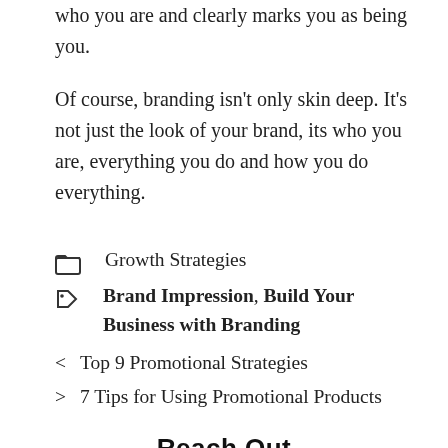who you are and clearly marks you as being you.
Of course, branding isn't only skin deep. It's not just the look of your brand, its who you are, everything you do and how you do everything.
Growth Strategies
Brand Impression, Build Your Business with Branding
< Top 9 Promotional Strategies
> 7 Tips for Using Promotional Products
Reach Out